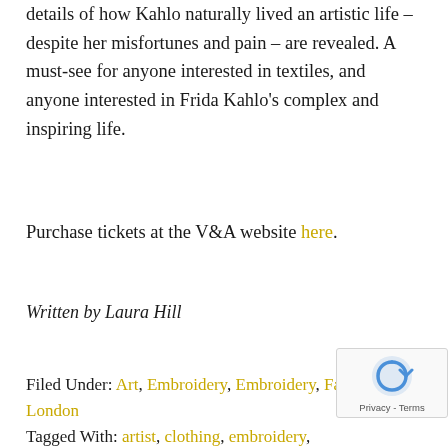details of how Kahlo naturally lived an artistic life – despite her misfortunes and pain – are revealed. A must-see for anyone interested in textiles, and anyone interested in Frida Kahlo's complex and inspiring life.
Purchase tickets at the V&A website here.
Written by Laura Hill
Filed Under: Art, Embroidery, Embroidery, Fashion, London
Tagged With: artist, clothing, embroidery,